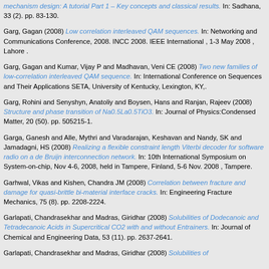mechanism design: A tutorial Part 1 – Key concepts and classical results. In: Sadhana, 33 (2). pp. 83-130.
Garg, Gagan (2008) Low correlation interleaved QAM sequences. In: Networking and Communications Conference, 2008. INCC 2008. IEEE International , 1-3 May 2008 , Lahore .
Garg, Gagan and Kumar, Vijay P and Madhavan, Veni CE (2008) Two new families of low-correlation interleaved QAM sequence. In: International Conference on Sequences and Their Applications SETA, University of Kentucky, Lexington, KY,.
Garg, Rohini and Senyshyn, Anatoliy and Boysen, Hans and Ranjan, Rajeev (2008) Structure and phase transition of Na0.5La0.5TiO3. In: Journal of Physics:Condensed Matter, 20 (50). pp. 505215-1.
Garga, Ganesh and Alle, Mythri and Varadarajan, Keshavan and Nandy, SK and Jamadagni, HS (2008) Realizing a flexible constraint length Viterbi decoder for software radio on a de Bruijn interconnection network. In: 10th International Symposium on System-on-chip, Nov 4-6, 2008, held in Tampere, Finland, 5-6 Nov. 2008 , Tampere.
Garhwal, Vikas and Kishen, Chandra JM (2008) Correlation between fracture and damage for quasi-brittle bi-material interface cracks. In: Engineering Fracture Mechanics, 75 (8). pp. 2208-2224.
Garlapati, Chandrasekhar and Madras, Giridhar (2008) Solubilities of Dodecanoic and Tetradecanoic Acids in Supercritical CO2 with and without Entrainers. In: Journal of Chemical and Engineering Data, 53 (11). pp. 2637-2641.
Garlapati, Chandrasekhar and Madras, Giridhar (2008) Solubilities of